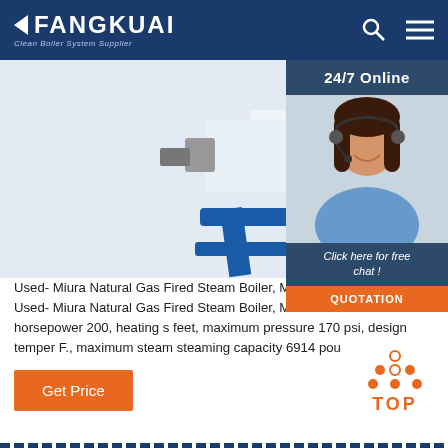FANGKUAI Clean Boiler System Supplier
[Figure (photo): Blue industrial steam boiler on a stand/frame, partially visible at top of page]
[Figure (photo): 24/7 Online customer service representative - woman wearing headset smiling, with overlay showing 'Click here for free chat!' and 'QUOTATION' button]
Used- Miura Natural Gas Fired Steam Boiler, Mo Used- Miura Natural Gas Fired Steam Boiler, Mo 47S46745. Utilization horsepower 200, heating s feet, maximum pressure 170 psi, design temper F., maximum steam steaming capacity 6914 pou
Get Price
[Figure (infographic): TOP button with orange dots arranged in triangle above orange TOP text]